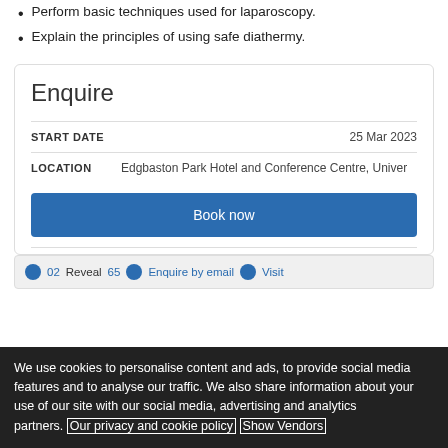Perform basic techniques used for laparoscopy.
Explain the principles of using safe diathermy.
Enquire
| Field | Value |
| --- | --- |
| START DATE | 25 Mar 2023 |
| LOCATION | Edgbaston Park Hotel and Conference Centre, Univer |
Book now
02... Reveal ...65  Enquire by email  Visit
We use cookies to personalise content and ads, to provide social media features and to analyse our traffic. We also share information about your use of our site with our social media, advertising and analytics partners. Our privacy and cookie policy Show Vendors